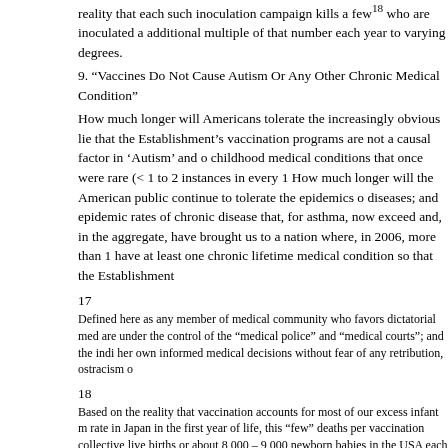reality that each such inoculation campaign kills a few18 who are inoculated and an additional multiple of that number each year to varying degrees.
9. “Vaccines Do Not Cause Autism Or Any Other Chronic Medical Condition”
How much longer will Americans tolerate the increasingly obvious lie that the Establishment’s vaccination programs are not a causal factor in ‘Autism’ and other childhood medical conditions that once were rare (< 1 to 2 instances in every 1... How much longer will the American public continue to tolerate the epidemics of diseases; and epidemic rates of chronic disease that, for asthma, now exceed... and, in the aggregate, have brought us to a nation where, in 2006, more than ... have at least one chronic lifetime medical condition so that the Establishment...
17
Defined here as any member of medical community who favors dictatorial medical... are under the control of the “medical police” and “medical courts”; and the individual... her own informed medical decisions without fear of any retribution, ostracism or...
18
Based on the reality that vaccination accounts for most of our excess infant mortality rate in Japan in the first year of life, this “few” deaths per vaccination collectively... live births or about 8,000 – 9,000 newborn babies in the USA each year.
19
“The rate of chronic health conditions among children in the United States increased in 2006”. [http://www.medscape.com/viewarticle/717030?sssdmh=dm1.591574... factor of 2.1 – without considering the increase in population of children by about...